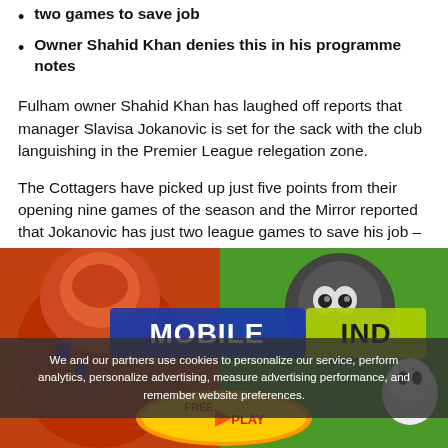two games to save job
Owner Shahid Khan denies this in his programme notes
Fulham owner Shahid Khan has laughed off reports that manager Slavisa Jokanovic is set for the sack with the club languishing in the Premier League relegation zone.
The Cottagers have picked up just five points from their opening nine games of the season and the Mirror reported that Jokanovic has just two league games to save his job – against Bournemouth and Huddersfield.
[Figure (illustration): Mobile game advertisement banner showing cartoon game characters with text 'MOBILE IND' and 'FREE PLAY' button]
We and our partners use cookies to personalize our service, perform analytics, personalize advertising, measure advertising performance, and remember website preferences.